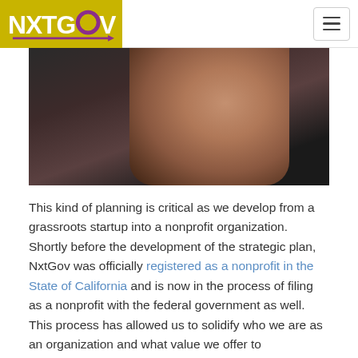NXTGOV
[Figure (photo): Photo of two women, one smiling with dark hair and red lipstick in the foreground, another person visible in the background.]
This kind of planning is critical as we develop from a grassroots startup into a nonprofit organization. Shortly before the development of the strategic plan, NxtGov was officially registered as a nonprofit in the State of California and is now in the process of filing as a nonprofit with the federal government as well. This process has allowed us to solidify who we are as an organization and what value we offer to